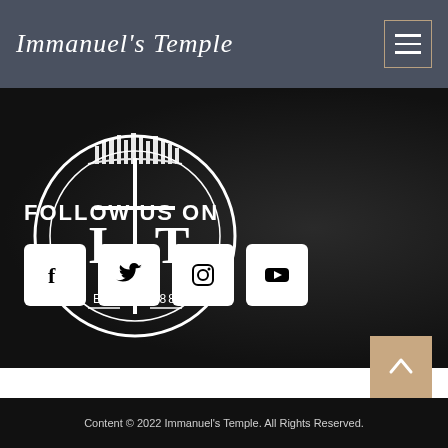Immanuel's Temple
[Figure (logo): Immanuel's Temple circular logo with IT letters, cross, cityscape silhouette, and EST. 1988 text]
FOLLOW US ON
[Figure (infographic): Four social media icon buttons: Facebook, Twitter, Instagram, YouTube]
[Figure (other): Back to top arrow button in tan/beige color]
Content © 2022 Immanuel's Temple. All Rights Reserved.